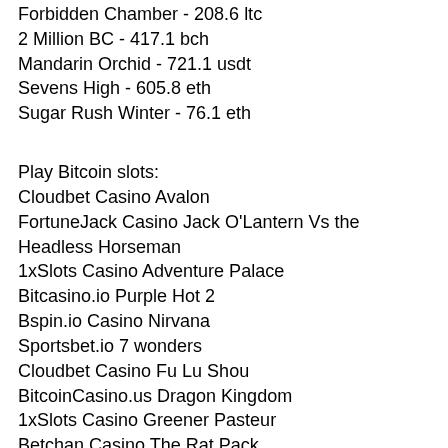Forbidden Chamber - 208.6 ltc
2 Million BC - 417.1 bch
Mandarin Orchid - 721.1 usdt
Sevens High - 605.8 eth
Sugar Rush Winter - 76.1 eth
Play Bitcoin slots:
Cloudbet Casino Avalon
FortuneJack Casino Jack O'Lantern Vs the Headless Horseman
1xSlots Casino Adventure Palace
Bitcasino.io Purple Hot 2
Bspin.io Casino Nirvana
Sportsbet.io 7 wonders
Cloudbet Casino Fu Lu Shou
BitcoinCasino.us Dragon Kingdom
1xSlots Casino Greener Pasteur
Betchan Casino The Rat Pack
CryptoWild Casino Sevens
1xBit Casino Dragon Drops
CryptoGames Mega Fortune